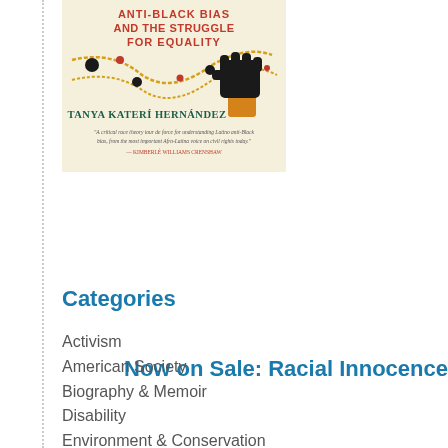[Figure (illustration): Book cover of 'Racial Innocence: Unmasking Latino Anti-Black Bias and the Struggle for Equality' by Tanya Katerí Hernández. Cream background with decorative golden chain design, black fist graphic, red and black dots. Quote by Kimberlé Williams Crenshaw at the bottom.]
Now on Sale: Racial Innocence
Categories
Activism
American Society
Biography & Memoir
Disability
Environment & Conservation
Feminism & Gender
History